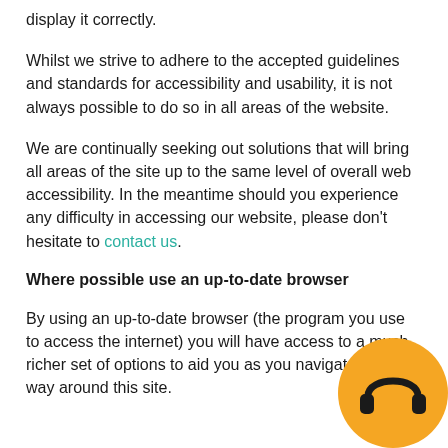display it correctly.
Whilst we strive to adhere to the accepted guidelines and standards for accessibility and usability, it is not always possible to do so in all areas of the website.
We are continually seeking out solutions that will bring all areas of the site up to the same level of overall web accessibility. In the meantime should you experience any difficulty in accessing our website, please don’t hesitate to contact us.
Where possible use an up-to-date browser
By using an up-to-date browser (the program you use to access the internet) you will have access to a much richer set of options to aid you as you navigate your way around this site.
[Figure (illustration): Orange circle with headphone icon in bottom-right corner]